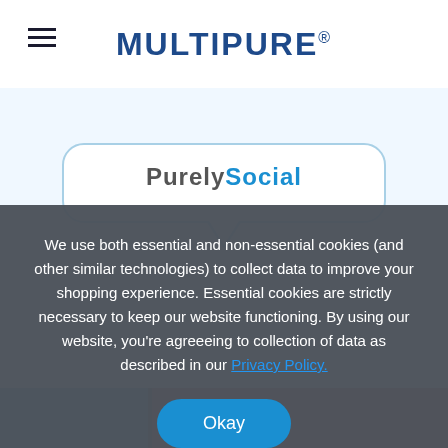MULTIPURE®
[Figure (illustration): PurelySocial speech bubble logo with text 'PurelySocial' in grey and blue]
We use both essential and non-essential cookies (and other similar technologies) to collect data to improve your shopping experience. Essential cookies are strictly necessary to keep our website functioning. By using our website, you're agreeeing to collection of data as described in our Privacy Policy.
Okay